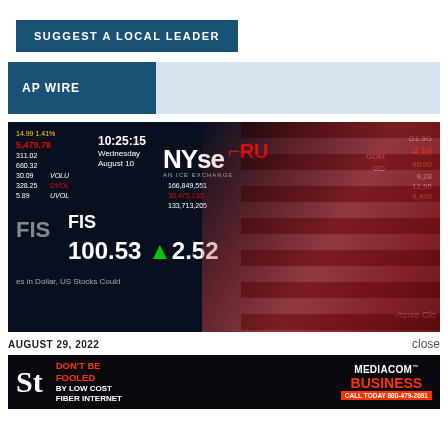SUGGEST A LOCAL LEADER
AP WIRE
[Figure (photo): NYSE stock exchange ticker board showing FIS at 100.53 +2.52, time 10:25:15, Wednesday August 10, with US flag in foreground]
AUGUST 29, 2022
close
[Figure (infographic): Mediacom Business advertisement: DON'T BE FOOLED BY LOW COST FIBER INTERNET — MEDIACOM BUSINESS CALL TODAY 800-479-2091]